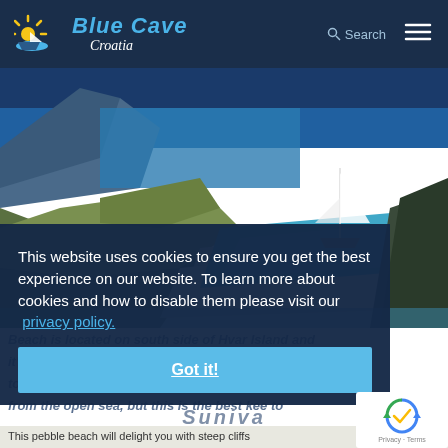Blue Cave Croatia
[Figure (screenshot): Hero background image showing a rocky coastline with turquoise water and a sailboat, Blue Cave Croatia travel website]
This website uses cookies to ensure you get the best experience on our website. To learn more about cookies and how to disable them please visit our privacy policy.
Got it!
Beach is located on south side of Hvar Island and it's one of most beautiful beaches in Europe according to European best destinations. Beach is barely visible from the open sea, but this is the best keep to Suniva
This pebble beach will delight you with steep cliffs